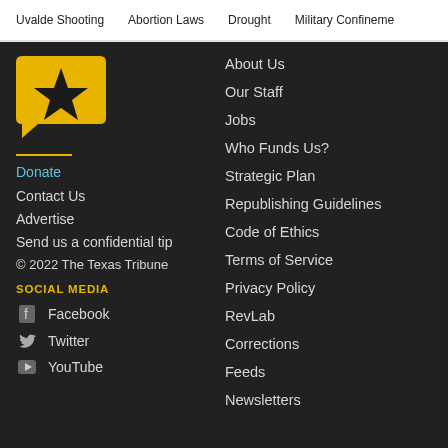Uvalde Shooting   Abortion Laws   Drought   Military Confineme...
[Figure (logo): Texas Tribune logo: yellow speech bubble with black star]
Donate
Contact Us
Advertise
Send us a confidential tip
© 2022 The Texas Tribune
SOCIAL MEDIA
Facebook
Twitter
YouTube
About Us
Our Staff
Jobs
Who Funds Us?
Strategic Plan
Republishing Guidelines
Code of Ethics
Terms of Service
Privacy Policy
RevLab
Corrections
Feeds
Newsletters